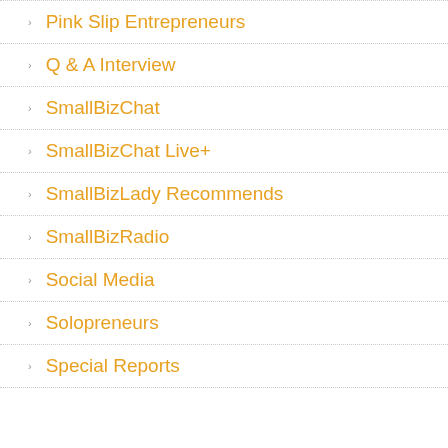Pink Slip Entrepreneurs
Q & A Interview
SmallBizChat
SmallBizChat Live+
SmallBizLady Recommends
SmallBizRadio
Social Media
Solopreneurs
Special Reports